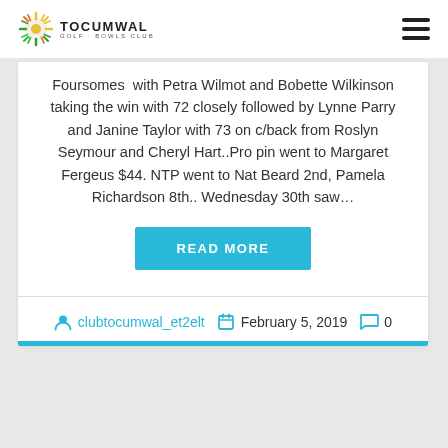TOCUMWAL GOLF & BOWLS CLUB
Foursomes with Petra Wilmot and Bobette Wilkinson taking the win with 72 closely followed by Lynne Parry and Janine Taylor with 73 on c/back from Roslyn Seymour and Cheryl Hart..Pro pin went to Margaret Fergeus $44. NTP went to Nat Beard 2nd, Pamela Richardson 8th.. Wednesday 30th saw…
READ MORE
clubtocumwal_et2elt   February 5, 2019   0